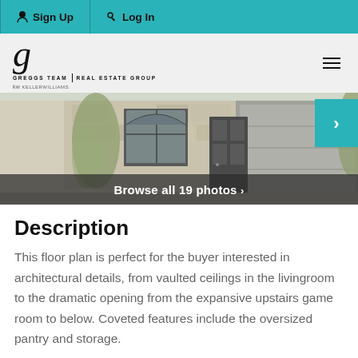Sign Up | Log In
[Figure (logo): Greggs Team Real Estate Group / KW logo]
[Figure (photo): Front elevation illustration of a stone house with garage and front door]
Browse all 19 photos ›
Description
This floor plan is perfect for the buyer interested in architectural details, from vaulted ceilings in the livingroom to the dramatic opening from the expansive upstairs game room to below. Coveted features include the oversized pantry and storage.